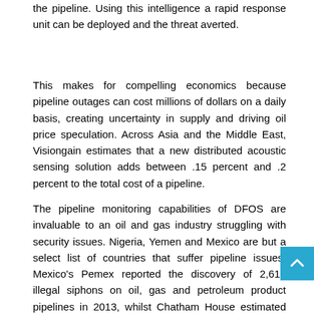the pipeline. Using this intelligence a rapid response unit can be deployed and the threat averted.
This makes for compelling economics because pipeline outages can cost millions of dollars on a daily basis, creating uncertainty in supply and driving oil price speculation. Across Asia and the Middle East, Visiongain estimates that a new distributed acoustic sensing solution adds between .15 percent and .2 percent to the total cost of a pipeline.
The pipeline monitoring capabilities of DFOS are invaluable to an oil and gas industry struggling with security issues. Nigeria, Yemen and Mexico are but a select list of countries that suffer pipeline issues. Mexico's Pemex reported the discovery of 2,614 illegal siphons on oil, gas and petroleum product pipelines in 2013, whilst Chatham House estimated that 100,000 barrels of oil per day (bopd) was lost